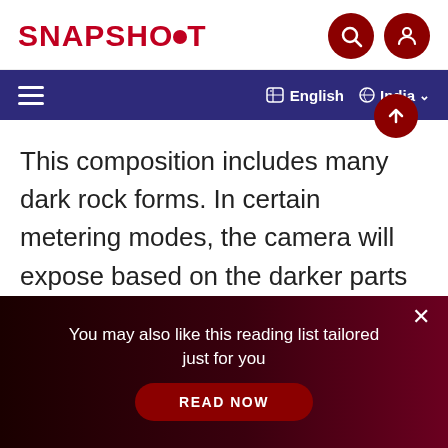SNAPSHOT
This composition includes many dark rock forms. In certain metering modes, the camera will expose based on the darker parts of the rocks, causing the brighter details in the flowing water to be overexposed and blown out. For this shot, I
You may also like this reading list tailored just for you
READ NOW